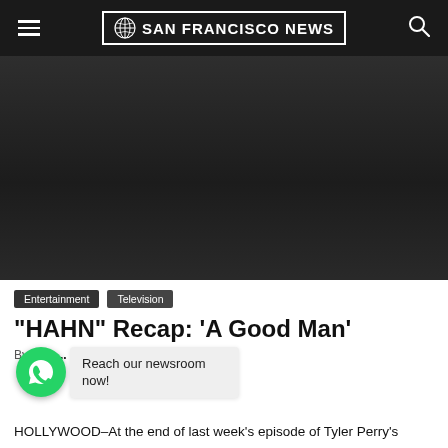SAN FRANCISCO NEWS
[Figure (screenshot): Dark banner area (advertisement or hero image placeholder) with dark gradient background]
Entertainment   Television
“HAHN” Recap: ‘A Good Man’
By Tracy  -  Jan 27, 2019
Reach our newsroom now!
HOLLYWOOD–At the end of last week’s episode of Tyler Perry’s